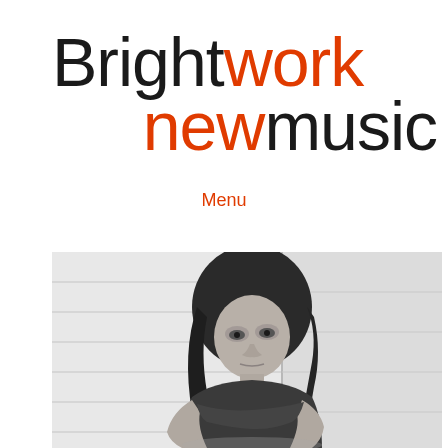Brightwork new music
Menu
[Figure (photo): Black and white photograph of a young girl with dark hair leaning against a tiled wall, hugging herself, looking at the camera with a serious expression]